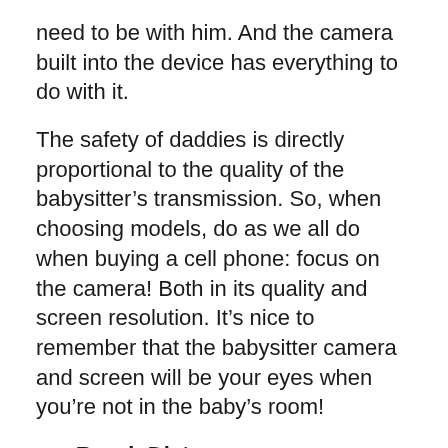need to be with him. And the camera built into the device has everything to do with it.
The safety of daddies is directly proportional to the quality of the babysitter’s transmission. So, when choosing models, do as we all do when buying a cell phone: focus on the camera! Both in its quality and screen resolution. It’s nice to remember that the babysitter camera and screen will be your eyes when you’re not in the baby’s room!
Reach Distance
Another very important point is the device’s range distance. It’s no use having the best baby monitor with a camera if you can’t